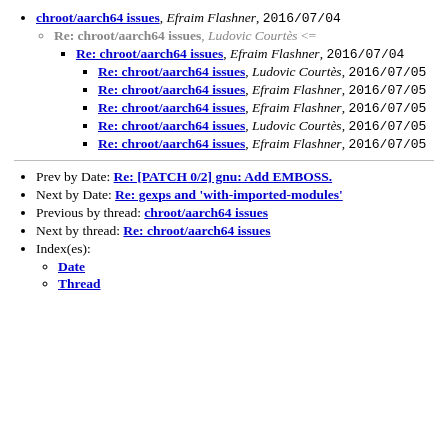chroot/aarch64 issues, Efraim Flashner, 2016/07/04
Re: chroot/aarch64 issues, Ludovic Courtès <=
Re: chroot/aarch64 issues, Efraim Flashner, 2016/07/04
Re: chroot/aarch64 issues, Ludovic Courtès, 2016/07/05
Re: chroot/aarch64 issues, Efraim Flashner, 2016/07/05
Re: chroot/aarch64 issues, Efraim Flashner, 2016/07/05
Re: chroot/aarch64 issues, Ludovic Courtès, 2016/07/05
Re: chroot/aarch64 issues, Efraim Flashner, 2016/07/05
Prev by Date: Re: [PATCH 0/2] gnu: Add EMBOSS.
Next by Date: Re: gexps and 'with-imported-modules'
Previous by thread: chroot/aarch64 issues
Next by thread: Re: chroot/aarch64 issues
Index(es):
Date
Thread